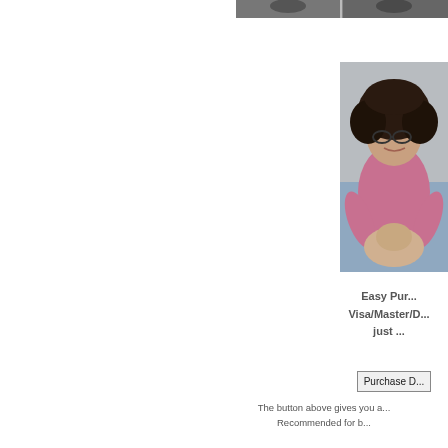[Figure (photo): Top strip showing partial view of two people, cropped horizontally]
[Figure (photo): Woman with curly dark hair wearing a pink top, sitting on a blue surface, holding or adjusting someone]
Easy Pur...
Visa/Master/D...
just ...
[Figure (other): Purchase Download button]
The button above gives you a...
Recommended for b...